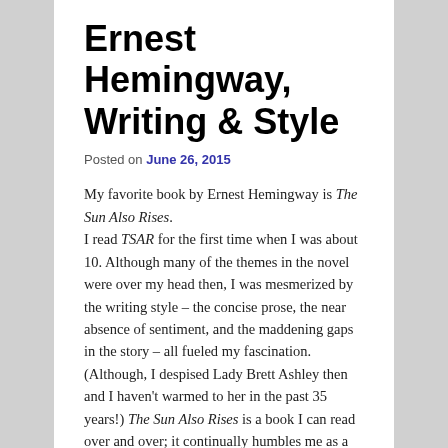Ernest Hemingway, Writing & Style
Posted on June 26, 2015
My favorite book by Ernest Hemingway is The Sun Also Rises. I read TSAR for the first time when I was about 10. Although many of the themes in the novel were over my head then, I was mesmerized by the writing style – the concise prose, the near absence of sentiment, and the maddening gaps in the story – all fueled my fascination. (Although, I despised Lady Brett Ashley then and I haven't warmed to her in the past 35 years!) The Sun Also Rises is a book I can read over and over; it continually humbles me as a writer.
No amount of analysis can convey the quality of The Sun Also Rises. It is a truly gripping story, told in a lean, hard, athletic